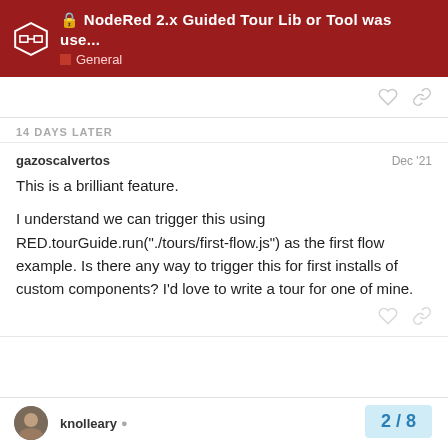NodeRed 2.x Guided Tour Lib or Tool was use... | General
14 DAYS LATER
gazoscalvertos
Dec '21
This is a brilliant feature.

I understand we can trigger this using RED.tourGuide.run("./tours/first-flow.js") as the first flow example. Is there any way to trigger this for first installs of custom components? I'd love to write a tour for one of mine.
knolleary